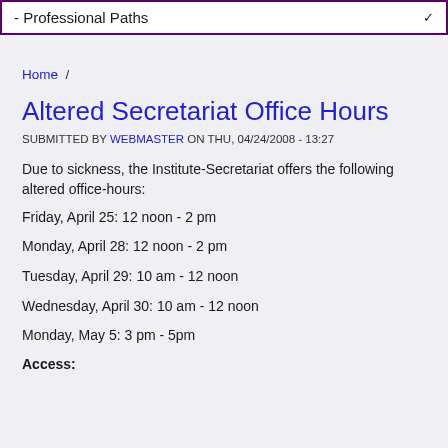- Professional Paths
Home /
Altered Secretariat Office Hours
SUBMITTED BY WEBMASTER ON THU, 04/24/2008 - 13:27
Due to sickness, the Institute-Secretariat offers the following altered office-hours:
Friday, April 25: 12 noon - 2 pm
Monday, April 28: 12 noon - 2 pm
Tuesday, April 29: 10 am - 12 noon
Wednesday, April 30: 10 am - 12 noon
Monday, May 5: 3 pm - 5pm
Access: